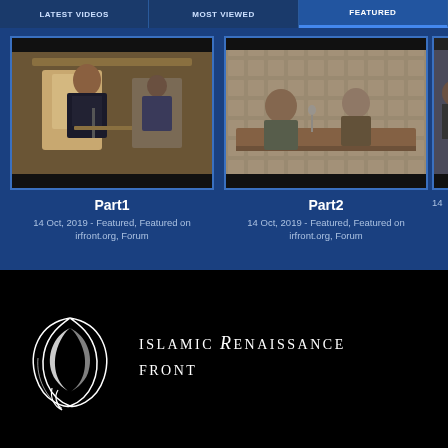LATEST VIDEOS | MOST VIEWED | FEATURED
[Figure (screenshot): Video thumbnail showing a person speaking at a podium in a decorated hall]
Part1
14 Oct, 2019 - Featured, Featured on irfront.org, Forum
[Figure (screenshot): Video thumbnail showing two men seated at a table during a forum discussion]
Part2
14 Oct, 2019 - Featured, Featured on irfront.org, Forum
[Figure (screenshot): Partially visible video thumbnail on the right edge]
14
[Figure (logo): Islamic Renaissance Front logo - stylized leaf/crescent design in white outline]
ISLAMIC RENAISSANCE FRONT